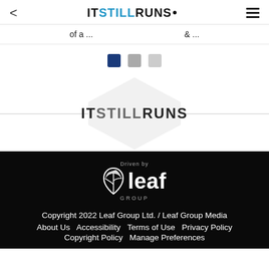< ITSTILLRUNS. ≡
of a ...   & ...
[Figure (other): Three square indicator dots: first dark blue (active), second medium gray, third light gray]
[Figure (logo): ITSTILLRUNS logo centered on a light gray hexagon background with horizontal rules on either side]
[Figure (logo): Driven by Leaf Group logo in white on black background — leaf icon with the word 'leaf' in large white text and 'GROUP' below in spaced gray letters]
Copyright 2022 Leaf Group Ltd. / Leaf Group Media
About Us  Accessibility  Terms of Use  Privacy Policy
Copyright Policy  Manage Preferences